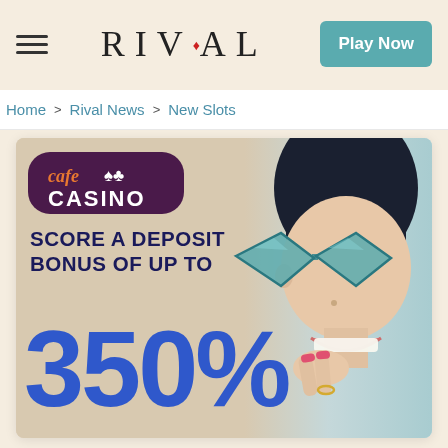RIVAL — Play Now
Home > Rival News > New Slots
[Figure (illustration): Cafe Casino promotional banner showing 'cafe CASINO' logo badge with playing card suits, text 'SCORE A DEPOSIT BONUS OF UP TO 350%', and a smiling woman wearing oversized teal geometric-frame sunglasses on the right side.]